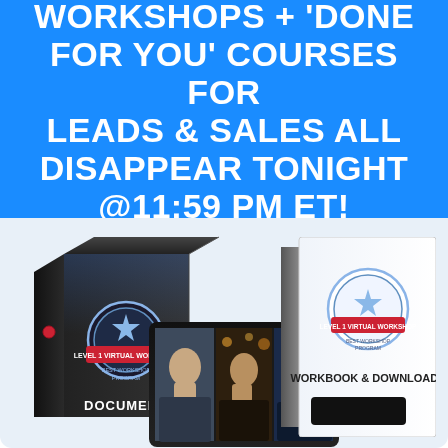WORKSHOPS + 'DONE FOR YOU' COURSES FOR LEADS & SALES ALL DISAPPEAR TONIGHT @11:59 PM ET!
[Figure (illustration): Product bundle showing a black box labeled 'Level 1 Virtual Workshop' and 'Document', a tablet showing live video with three people, and a white workbook labeled 'Level 1 Virtual Workshop – Workbook & Downloads']